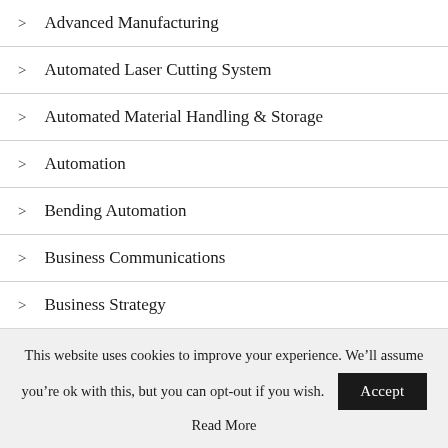> Advanced Manufacturing
> Automated Laser Cutting System
> Automated Material Handling & Storage
> Automation
> Bending Automation
> Business Communications
> Business Strategy
> CNC press brakes
This website uses cookies to improve your experience. We'll assume you're ok with this, but you can opt-out if you wish. Accept
Read More